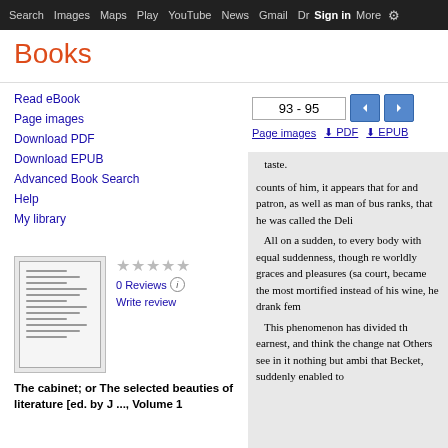Search  Images  Maps  Play  YouTube  News  Gmail  Dr  Sign in  More  ⚙
Books
Read eBook
Page images
Download PDF
Download EPUB
Advanced Book Search
Help
My library
[Figure (illustration): Book thumbnail cover image]
★★★★★
0 Reviews ⓘ
Write review
The cabinet; or The selected beauties of literature [ed. by J ..., Volume 1
93 - 95
Page images  ⬇ PDF  ⬇ EPUB
taste.

counts of him, it appears that for
and patron, as well as man of bus
ranks, that he was called the Deli

All on a sudden, to every body
with equal suddenness, though re
worldly graces and pleasures (sa
court, became the most mortified
instead of his wine, he drank fem

This phenomenon has divided th
earnest, and think the change nat
Others see in it nothing but ambi
that Becket, suddenly enabled to